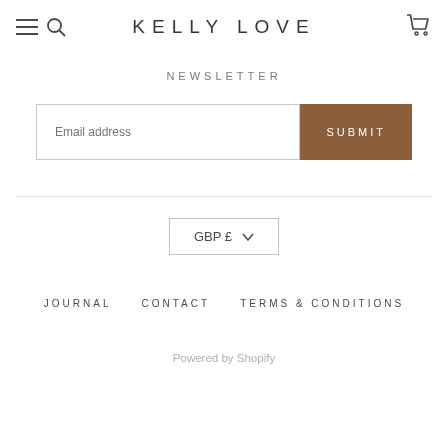KELLY LOVE
NEWSLETTER
Email address
SUBMIT
GBP £
JOURNAL   CONTACT   TERMS & CONDITIONS
Powered by Shopify